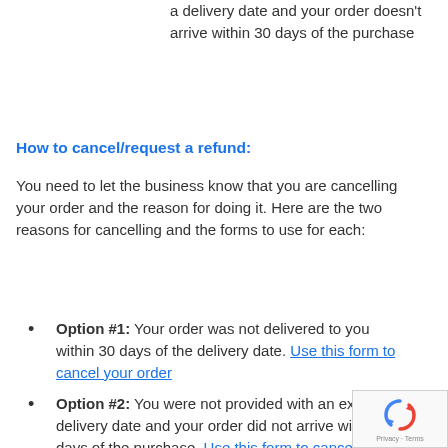a delivery date and your order doesn't arrive within 30 days of the purchase
How to cancel/request a refund:
You need to let the business know that you are cancelling your order and the reason for doing it. Here are the two reasons for cancelling and the forms to use for each:
Option #1: Your order was not delivered to you within 30 days of the delivery date. Use this form to cancel your order
Option #2: You were not provided with an expected delivery date and your order did not arrive within 30 days of the purchase. Use this form to cancel your order